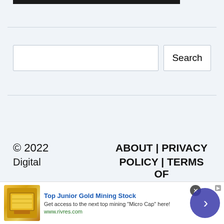[Figure (photo): Partial photo strip at top of page, dark image showing people]
[Figure (screenshot): Search input box and Search button on light blue background]
© 2022 Digital
ABOUT | PRIVACY POLICY | TERMS OF
[Figure (infographic): Advertisement banner: Top Junior Gold Mining Stock. Get access to the next top mining Micro Cap here! www.rivres.com]